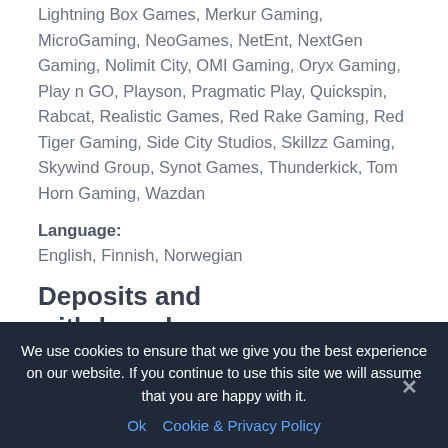Lightning Box Games, Merkur Gaming, MicroGaming, NeoGames, NetEnt, NextGen Gaming, Nolimit City, OMI Gaming, Oryx Gaming, Play n GO, Playson, Pragmatic Play, Quickspin, Rabcat, Realistic Games, Red Rake Gaming, Red Tiger Gaming, Side City Studios, Skillzz Gaming, Skywind Group, Synot Games, Thunderkick, Tom Horn Gaming, Wazdan
Language:
English, Finnish, Norwegian
Deposits and withdrawals
We use cookies to ensure that we give you the best experience on our website. If you continue to use this site we will assume that you are happy with it.
Ok   Cookie & Privacy Policy